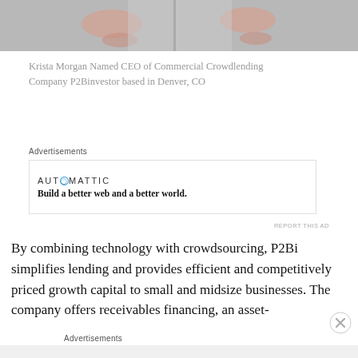[Figure (photo): Partial view of a person gesturing with hands, wearing a light-colored outfit, cropped at top of page]
Krista Morgan Named CEO of Commercial Crowdlending Company P2Binvestor based in Denver, CO
Advertisements
[Figure (logo): Automattic logo with tagline: Build a better web and a better world.]
REPORT THIS AD
By combining technology with crowdsourcing, P2Bi simplifies lending and provides efficient and competitively priced growth capital to small and midsize businesses. The company offers receivables financing, an asset-
Advertisements
REPORT THIS AD